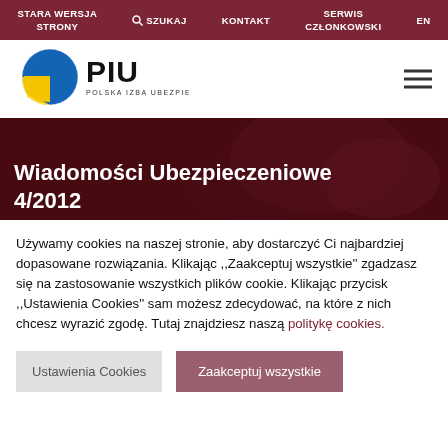STARA WERSJA STRONY | SZUKAJ | KONTAKT | SERWIS CZŁONKOWSKI | EN
[Figure (logo): PIU - Polska Izba Ubezpieczeń logo with colorful globe icon]
[Figure (photo): Hero banner image with dark red overlay showing open books in background]
Wiadomości Ubezpieczeniowe 4/2012
Używamy cookies na naszej stronie, aby dostarczyć Ci najbardziej dopasowane rozwiązania. Klikając ,,Zaakceptuj wszystkie'' zgadzasz się na zastosowanie wszystkich plików cookie. Klikając przycisk ,,Ustawienia Cookies'' sam możesz zdecydować, na które z nich chcesz wyrazić zgodę. Tutaj znajdziesz naszą politykę cookies.
Ustawienia Cookies | Zaakceptuj wszystkie